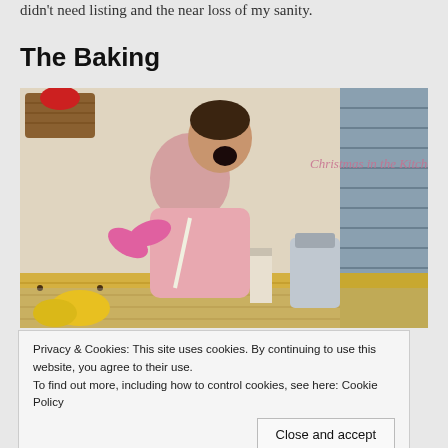didn't need listing and the near loss of my sanity.
The Baking
[Figure (photo): A woman in a kitchen wearing a pink top and apron with a pink bow, laughing or screaming while baking. Kitchen counters with fruits, a mixer, paper towels visible in background. Text overlay reads 'Christmas in the Kitchen'.]
Privacy & Cookies: This site uses cookies. By continuing to use this website, you agree to their use.
To find out more, including how to control cookies, see here: Cookie Policy
Close and accept
Da blaupunktde blah blah blah blah blah blah blah blah blah blah